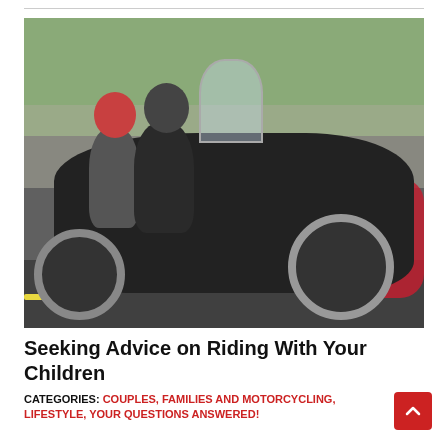[Figure (photo): Two motorcyclists wearing helmets seated on a large black touring motorcycle (Victory brand) parked in a lot. A smaller red motorcycle is visible in the background. Green trees and a building are visible in the background. The passenger wears a red helmet and gray/black jacket, the rider wears a black helmet and black jacket.]
Seeking Advice on Riding With Your Children
CATEGORIES: COUPLES, FAMILIES AND MOTORCYCLING, LIFESTYLE, YOUR QUESTIONS ANSWERED!